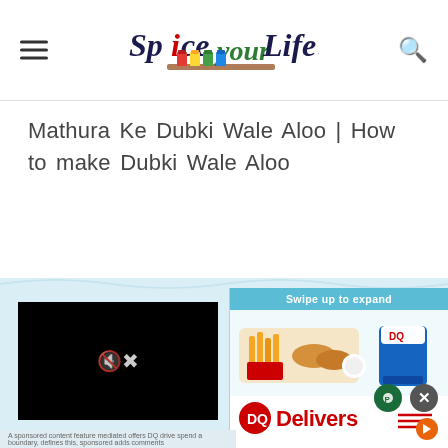Spice your Life! — site header with navigation hamburger menu and search icon
Mathura Ke Dubki Wale Aloo | How to make Dubki Wale Aloo
[Figure (screenshot): A video player thumbnail (black screen with mute icon) and a Dairy Queen advertisement panel with 'Swipe up to expand' and 'DQ Delivers' branding, food imagery]